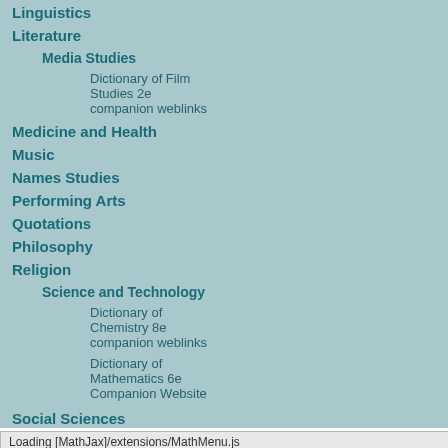Linguistics
Literature
Media Studies
Dictionary of Film Studies 2e companion weblinks
Medicine and Health
Music
Names Studies
Performing Arts
Quotations
Philosophy
Religion
Science and Technology
Dictionary of Chemistry 8e companion weblinks
Dictionary of Mathematics 6e Companion Website
Social Sciences
[Figure (illustration): Colorful painting of bottles and glasses in an expressionist style with blues, oranges, and teals]
thr
suc
cust
Oxford Reference provides o many aspects of human soc information that covers the society and culture—from m sports. Written by trusted e line drawings and images w
Jump to:
Sample resources | Feat
[Figure (photo): Book cover: Savoring Gotham - A Food Lover's Companion to New York City]
Loading [MathJax]/extensions/MathMenu.js